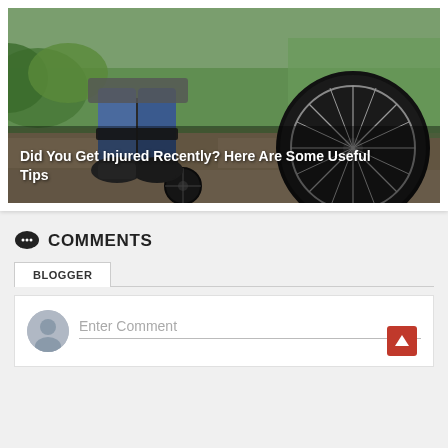[Figure (photo): Wheelchair user's feet/legs and wheelchair wheel on a stone path outdoors, with green plants in background. Text overlay reads 'Did You Get Injured Recently? Here Are Some Useful Tips']
Did You Get Injured Recently? Here Are Some Useful Tips
COMMENTS
BLOGGER
Enter Comment